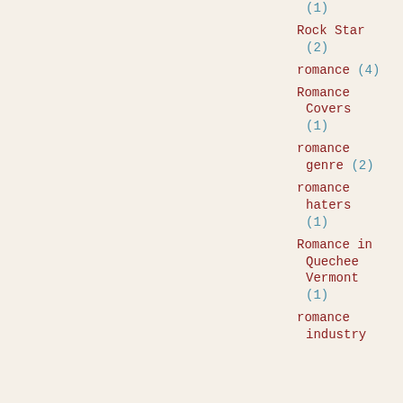(1)
Rock Star (2)
romance (4)
Romance Covers (1)
romance genre (2)
romance haters (1)
Romance in Quechee Vermont (1)
romance industry